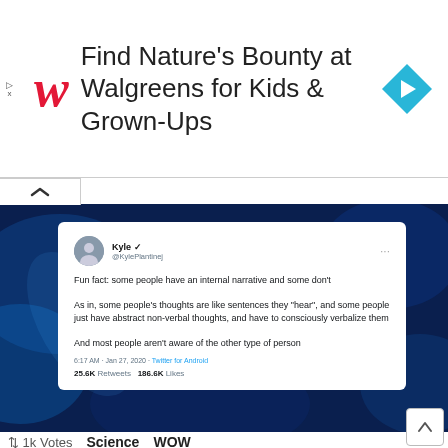[Figure (screenshot): Walgreens advertisement banner: 'Find Nature's Bounty at Walgreens for Kids & Grown-Ups' with Walgreens W logo and a blue diamond navigation arrow icon]
[Figure (screenshot): Screenshot of a tweet by Kyle (@KylePlantinej) on a dark blue glowing background: 'Fun fact: some people have an internal narrative and some don't. As in, some people's thoughts are like sentences they hear, and some people just have abstract non-verbal thoughts, and have to consciously verbalize them. And most people aren't aware of the other type of person.' Posted 6:17 AM · Jan 27, 2020 · Twitter for Android. 25.6K Retweets 186.6K Likes]
↑↓ 1k Votes   Science   WOW
Guy Finds Out Not Everyone Has An Internal Monologue With Themselves And It Ruins His Day